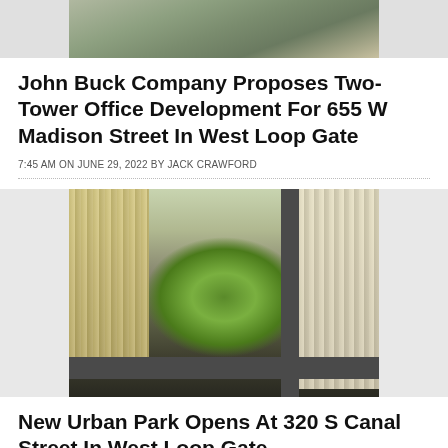[Figure (photo): Aerial view of buildings, partially cropped at top of page]
John Buck Company Proposes Two-Tower Office Development For 655 W Madison Street In West Loop Gate
7:45 AM ON JUNE 29, 2022 BY JACK CRAWFORD
[Figure (photo): Aerial architectural rendering of a new urban development with a circular green park surrounded by tall glass office towers and city streets]
New Urban Park Opens At 320 S Canal Street In West Loop Gate